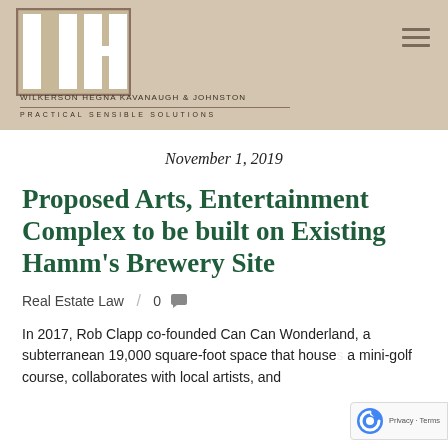[Figure (logo): Wilkerson Hegna Kavanaugh & Johnston law firm logo: stylized WH letters in white on tan/beige background with firm name and tagline below]
WILKERSON HEGNA KAVANAUGH & JOHNSTON
PRACTICAL SENSIBLE SOLUTIONS
November 1, 2019
Proposed Arts, Entertainment Complex to be built on Existing Hamm's Brewery Site
Real Estate Law / 0
In 2017, Rob Clapp co-founded Can Can Wonderland, a subterranean 19,000 square-foot space that houses a mini-golf course, collaborates with local artists, and tends to...